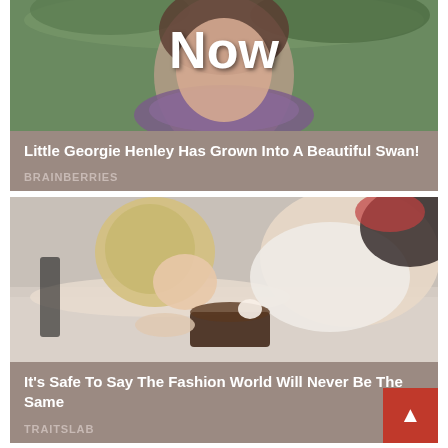[Figure (photo): Photo of a young woman with brown hair wearing a purple knit scarf, outdoors, with the word 'Now' overlaid in large white bold text]
Little Georgie Henley Has Grown Into A Beautiful Swan!
BRAINBERRIES
[Figure (photo): Photo of a blonde woman in a white top leaning over a table eating a chocolate cake]
It's Safe To Say The Fashion World Will Never Be The Same
TRAITSLAB